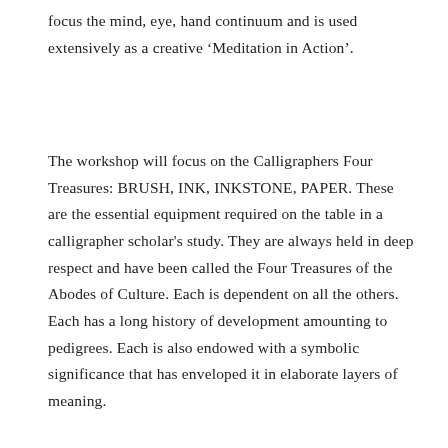focus the mind, eye, hand continuum and is used extensively as a creative 'Meditation in Action'.
The workshop will focus on the Calligraphers Four Treasures: BRUSH, INK, INKSTONE, PAPER. These are the essential equipment required on the table in a calligrapher scholar's study. They are always held in deep respect and have been called the Four Treasures of the Abodes of Culture. Each is dependent on all the others. Each has a long history of development amounting to pedigrees. Each is also endowed with a symbolic significance that has enveloped it in elaborate layers of meaning.